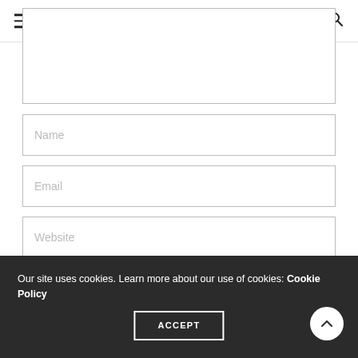The Body Shop: How Alcohol A...
[Figure (screenshot): Web form with textarea, Name, Email, Website input fields, and a SUBMIT COMMENT button on dark background]
Our site uses cookies. Learn more about our use of cookies: Cookie Policy
ACCEPT